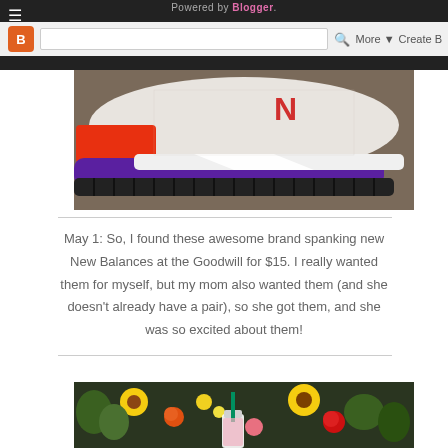Powered by Blogger.
[Figure (photo): Close-up photo of a New Balance sneaker sole showing white midsole, purple outsole, and orange accent near the heel on a dark surface]
May 1: So, I found these awesome brand spanking new New Balances at the Goodwill for $15. I really wanted them for myself, but my mom also wanted them (and she doesn't already have a pair), so she got them, and she was so excited about them!
[Figure (photo): Photo of colorful flower bouquets including sunflowers, roses, and other flowers at what appears to be a market, with a Starbucks drink visible]